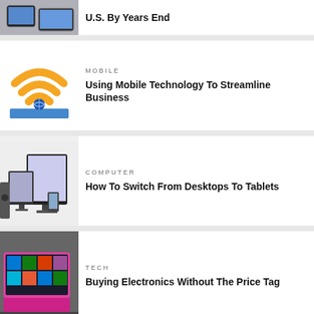[Figure (photo): Partial top card showing tablet devices]
U.S. By Years End
[Figure (illustration): WiFi signal icon with orange arcs above a laptop with globe]
MOBILE
Using Mobile Technology To Streamline Business
[Figure (photo): Desktop computer setup with monitors and speakers]
COMPUTER
How To Switch From Desktops To Tablets
[Figure (photo): Pink Microsoft Surface tablet on dark surface]
TECH
Buying Electronics Without The Price Tag
[Figure (photo): Woman holding tablet at what appears to be an event]
MOBILE